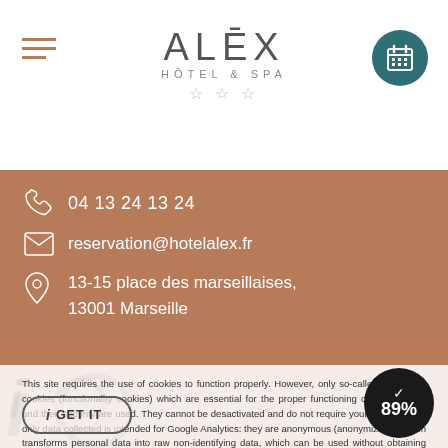[Figure (logo): ALEX HÔTEL & SPA three-star logo with hamburger menu icon and calendar booking button]
04 13 24 13 24
reservation@hotelalex.fr
13-15 place des marseillaises,
13001 Marseille
This site requires the use of cookies to function properly. However, only so-called "technical" cookies (functionality cookies) which are essential for the proper functioning of the services and their security are used. They cannot be desactivated and do not require your consent. The only data collected is intended for Google Analytics: they are anonymous (anonymization which transforms personal data into raw non-identifying data, which can be used without obtaining the consent of the users from which it originates).
I GET IT
89%